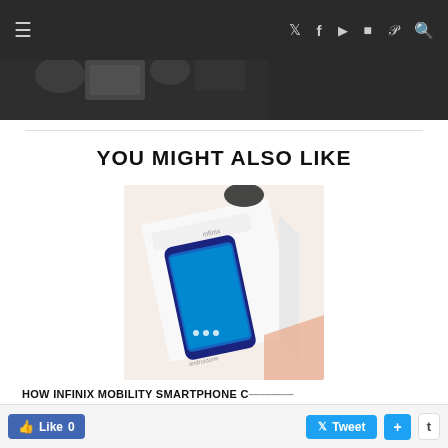Navigation bar with hamburger menu, Twitter, Facebook, YouTube, Instagram, Pinterest, Search icons
[Figure (photo): Hero photo at top showing people working with tablets, dark overlay, partial view behind nav bar]
YOU MIGHT ALSO LIKE
[Figure (photo): Infinix NOTE smartphone shown in its box packaging, Android One branding visible, placed on peach/orange background]
HOW INFINIX MOBILITY SMARTPHONE C...
HAVE TRANSFORMED SMARTPHONE PHO...
Like 0   Tweet   +   t